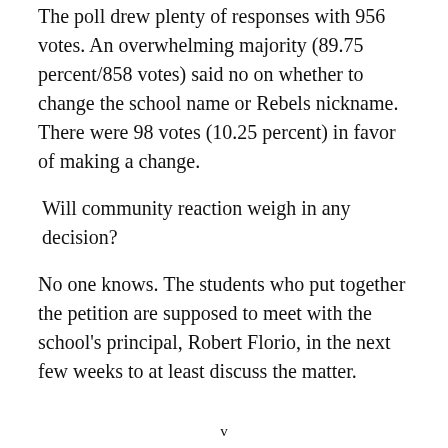The poll drew plenty of responses with 956 votes. An overwhelming majority (89.75 percent/858 votes) said no on whether to change the school name or Rebels nickname. There were 98 votes (10.25 percent) in favor of making a change.
Will community reaction weigh in any decision?
No one knows. The students who put together the petition are supposed to meet with the school’s principal, Robert Florio, in the next few weeks to at least discuss the matter.
v